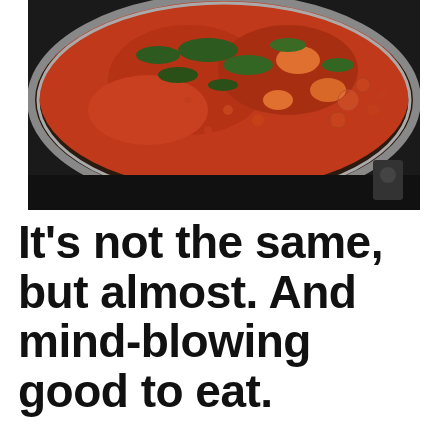[Figure (photo): Close-up photo of a pan on a stove with bubbling tomato-based stew or sauce, containing vegetables including carrots and herbs, viewed from above. The pan has a metallic rim and sits on a black stovetop.]
It's not the same, but almost. And mind-blowing good to eat.